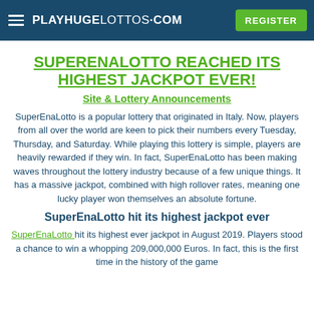PLAYHUGELOTTOS·COM  REGISTER
SUPERENALOTTO REACHED ITS HIGHEST JACKPOT EVER!
Site & Lottery Announcements
SuperEnaLotto is a popular lottery that originated in Italy. Now, players from all over the world are keen to pick their numbers every Tuesday, Thursday, and Saturday. While playing this lottery is simple, players are heavily rewarded if they win. In fact, SuperEnaLotto has been making waves throughout the lottery industry because of a few unique things. It has a massive jackpot, combined with high rollover rates, meaning one lucky player won themselves an absolute fortune.
SuperEnaLotto hit its highest jackpot ever
SuperEnaLotto hit its highest ever jackpot in August 2019. Players stood a chance to win a whopping 209,000,000 Euros. In fact, this is the first time in the history of the game